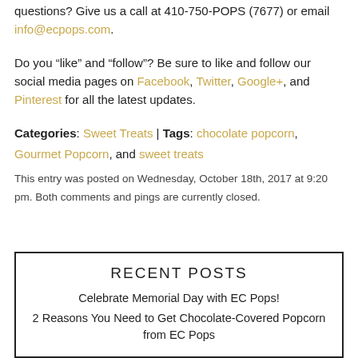questions? Give us a call at 410-750-POPS (7677) or email info@ecpops.com.
Do you “like” and “follow”? Be sure to like and follow our social media pages on Facebook, Twitter, Google+, and Pinterest for all the latest updates.
Categories: Sweet Treats | Tags: chocolate popcorn, Gourmet Popcorn, and sweet treats
This entry was posted on Wednesday, October 18th, 2017 at 9:20 pm. Both comments and pings are currently closed.
RECENT POSTS
Celebrate Memorial Day with EC Pops!
2 Reasons You Need to Get Chocolate-Covered Popcorn from EC Pops